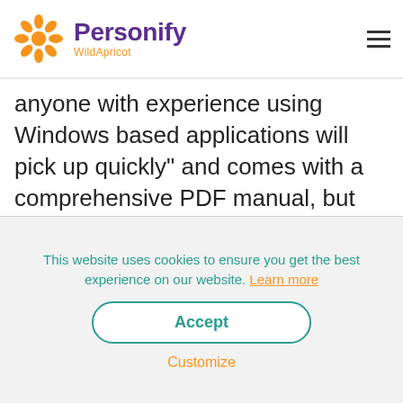Personify WildApricot
anyone with experience using Windows based applications will pick up quickly" and comes with a comprehensive PDF manual, but you need to download the software to see the manual and get an idea of whether the software will suit your organization's needs.
Training volunteers to use your membership software?
This website uses cookies to ensure you get the best experience on our website. Learn more
Accept
Customize